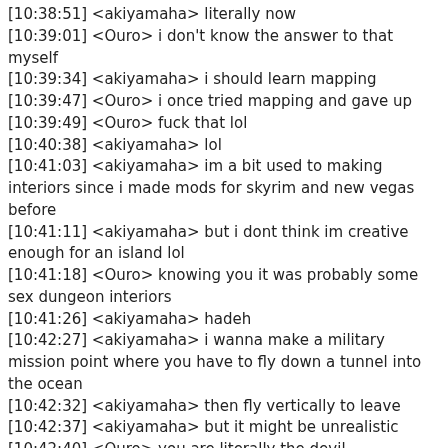[10:38:51] <akiyamaha> literally now
[10:39:01] <Ouro> i don't know the answer to that myself
[10:39:34] <akiyamaha> i should learn mapping
[10:39:47] <Ouro> i once tried mapping and gave up
[10:39:49] <Ouro> fuck that lol
[10:40:38] <akiyamaha> lol
[10:41:03] <akiyamaha> im a bit used to making interiors since i made mods for skyrim and new vegas before
[10:41:11] <akiyamaha> but i dont think im creative enough for an island lol
[10:41:18] <Ouro> knowing you it was probably some sex dungeon interiors
[10:41:26] <akiyamaha> hadeh
[10:42:27] <akiyamaha> i wanna make a military mission point where you have to fly down a tunnel into the ocean
[10:42:32] <akiyamaha> then fly vertically to leave
[10:42:37] <akiyamaha> but it might be unrealistic
[10:42:40] <Ouro> you are literally the devil
[10:42:50] <akiyamaha> yes
[10:43:41] <Ouro> fuck dodo
[10:43:43] <Ouro> shitty ass plane
[10:43:48] <akiyamaha> wat
[10:43:51] <akiyamaha> its good
[10:43:56] <Ouro> died landing this shit lmao
[10:44:01] <akiyamaha> a dodo
[10:44:04] <akiyamaha> how